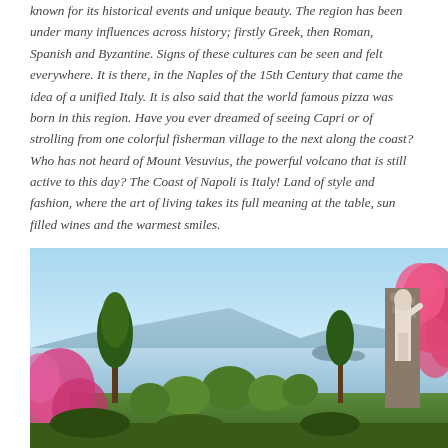known for its historical events and unique beauty. The region has been under many influences across history; firstly Greek, then Roman, Spanish and Byzantine. Signs of these cultures can be seen and felt everywhere. It is there, in the Naples of the 15th Century that came the idea of a unified Italy. It is also said that the world famous pizza was born in this region. Have you ever dreamed of seeing Capri or of strolling from one colorful fisherman village to the next along the coast? Who has not heard of Mount Vesuvius, the powerful volcano that is still active to this day? The Coast of Napoli is Italy! Land of style and fashion, where the art of living takes its full meaning at the table, sun filled wines and the warmest smiles.
[Figure (photo): Scenic view from Capri garden with a classical white marble statue on the right, colorful pink bougainvillea flowers framing the scene, green topiary bushes and pine trees in the middle ground, and a blue hazy sea with mountains in the background.]